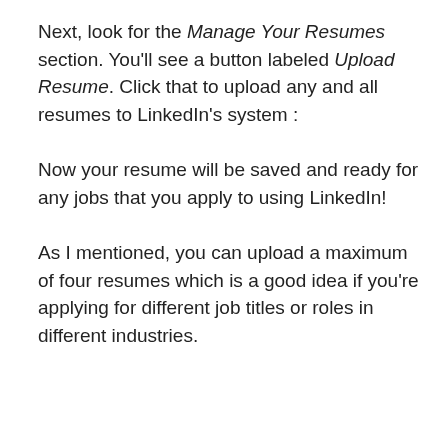Next, look for the Manage Your Resumes section. You'll see a button labeled Upload Resume. Click that to upload any and all resumes to LinkedIn's system :
Now your resume will be saved and ready for any jobs that you apply to using LinkedIn!
As I mentioned, you can upload a maximum of four resumes which is a good idea if you're applying for different job titles or roles in different industries.